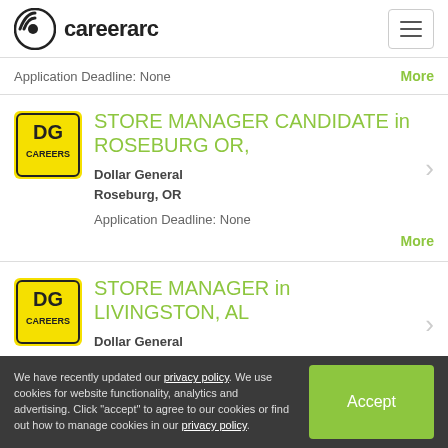careerarc
Application Deadline: None    More
STORE MANAGER CANDIDATE in ROSEBURG OR,
Dollar General
Roseburg, OR
Application Deadline: None    More
STORE MANAGER in LIVINGSTON, AL
Dollar General
Livingston, AL
We have recently updated our privacy policy. We use cookies for website functionality, analytics and advertising. Click "accept" to agree to our cookies or find out how to manage cookies in our privacy policy.    Accept